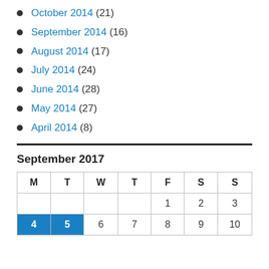October 2014 (21)
September 2014 (16)
August 2014 (17)
July 2014 (24)
June 2014 (28)
May 2014 (27)
April 2014 (8)
September 2017
| M | T | W | T | F | S | S |
| --- | --- | --- | --- | --- | --- | --- |
|  |  |  |  | 1 | 2 | 3 |
| 4 | 5 | 6 | 7 | 8 | 9 | 10 |